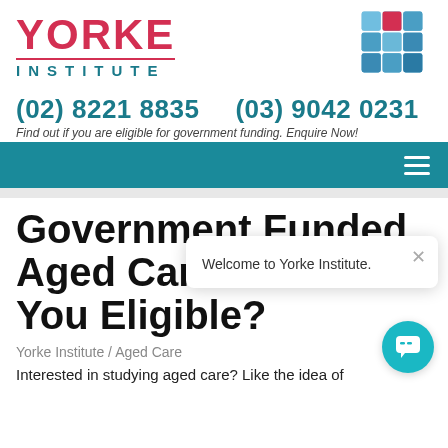[Figure (logo): Yorke Institute logo with red text 'YORKE' and teal 'INSTITUTE' below, with a 3D blue cube graphic with a red highlight piece]
(02) 8221 8835    (03) 9042 0231
Find out if you are eligible for government funding. Enquire Now!
[Figure (screenshot): Teal navigation bar with hamburger menu icon on right]
Government Funded Aged Care – Are You Eligible?
Yorke Institute / Aged Care
Welcome to Yorke Institute.
Interested in studying aged care? Like the idea of